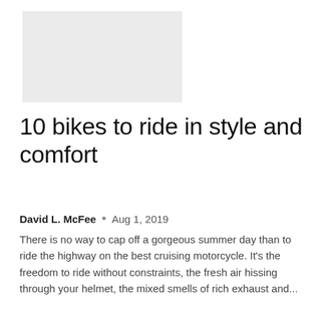[Figure (photo): Light gray placeholder image box at top left]
10 bikes to ride in style and comfort
David L. McFee  •  Aug 1, 2019
There is no way to cap off a gorgeous summer day than to ride the highway on the best cruising motorcycle. It's the freedom to ride without constraints, the fresh air hissing through your helmet, the mixed smells of rich exhaust and...
[Figure (photo): Photo of a man in a black t-shirt and mask posing with a red and white Honda Goldwing motorcycle inside a showroom. A large yellow 'GOLDWING' banner is visible in the background.]